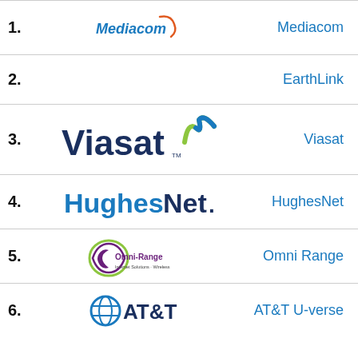1. Mediacom
2. EarthLink
3. Viasat
4. HughesNet
5. Omni Range
6. AT&T U-verse